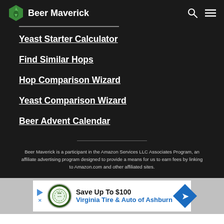Beer Maverick
Yeast Starter Calculator
Find Similar Hops
Hop Comparison Wizard
Yeast Comparison Wizard
Beer Advent Calendar
Beer Maverick is a participant in the Amazon Services LLC Associates Program, an affiliate advertising program designed to provide a means for us to earn fees by linking to Amazon.com and other affiliated sites.
[Figure (infographic): Advertisement banner: Save Up To $100 Virginia Tire & Auto of Ashburn]